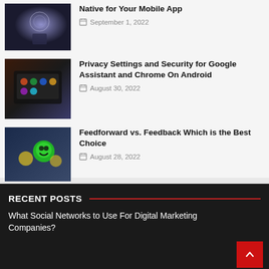[Figure (photo): Person holding a glowing globe smartphone, dark background]
Native for Your Mobile App
September 1, 2022
[Figure (photo): Tablet with colorful app icons on dark wood surface]
Privacy Settings and Security for Google Assistant and Chrome On Android
August 30, 2022
[Figure (photo): Person pressing green smiley face rating button, dark blue background]
Feedforward vs. Feedback Which is the Best Choice
August 28, 2022
RECENT POSTS
What Social Networks to Use For Digital Marketing Companies?